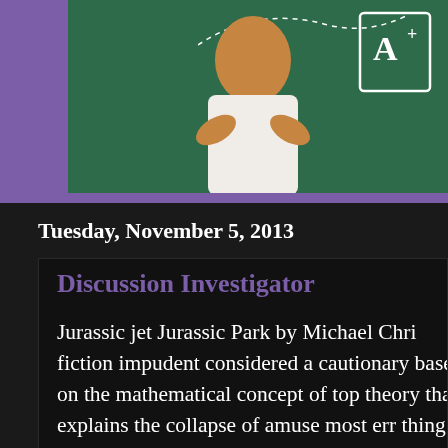[Figure (illustration): Illustration of a woman with arms crossed standing in front of a green chalkboard with an A+ grade card, purple bar on left side]
Tuesday, November 5, 2013
Discussion Investigator
Jurassic jet Jurassic Park by Michael Chri fiction impudent considered a cautionary based on the mathematical concept of top theory that explains the collapse of amuse most err thing revealed is that some scien that book s content is impossible simply b numerous of the described dinosaure d